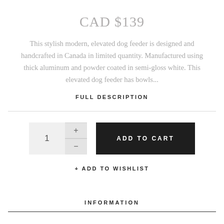CAD $139
This stylish modern, elevated dog feeder is designed and handcrafted in Canada in limited quantity. Manufactured using thick aluminum and powder coated in semi-gloss white. This elevated dog feeder has bowls...
FULL DESCRIPTION
[Figure (other): Quantity selector with plus and minus buttons alongside an Add to Cart button]
+ ADD TO WISHLIST
INFORMATION